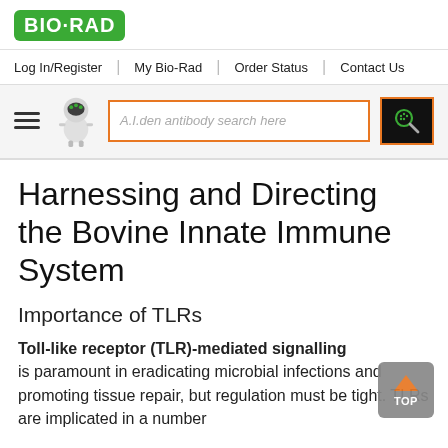[Figure (logo): Bio-Rad logo: white text BIO-RAD on green rounded rectangle background]
Log In/Register | My Bio-Rad | Order Status | Contact Us
[Figure (screenshot): Search bar with A.I.den mascot robot, hamburger menu, search input with placeholder 'A.I.den antibody search here', and search button with magnifier icon]
Harnessing and Directing the Bovine Innate Immune System
Importance of TLRs
Toll-like receptor (TLR)-mediated signalling is paramount in eradicating microbial infections and promoting tissue repair, but regulation must be tight. TLRs are implicated in a number of inflammatory and immunological disorders and